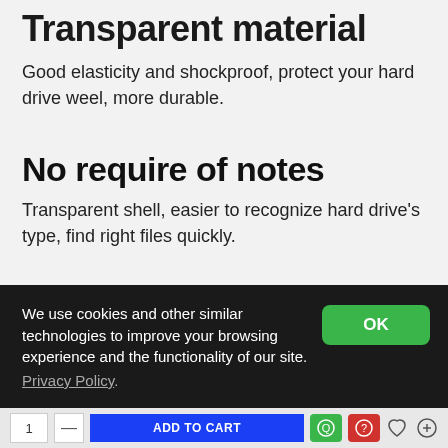Transparent material
Good elasticity and shockproof, protect your hard drive weel, more durable.
No require of notes
Transparent shell, easier to recognize hard drive's type, find right files quickly.
We use cookies and other similar technologies to improve your browsing experience and the functionality of our site. Privacy Policy.